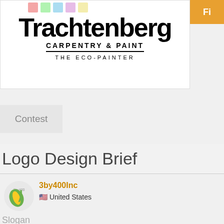[Figure (logo): Trachtenberg Carpentry & Paint logo with colored squares at top and tagline 'The Eco-Painter']
Fi...
Contest
Logo Design Brief
[Figure (logo): 3by400 green leaf logo avatar]
3by400Inc
🇺🇸 United States
Slogan
The Eco-Painter